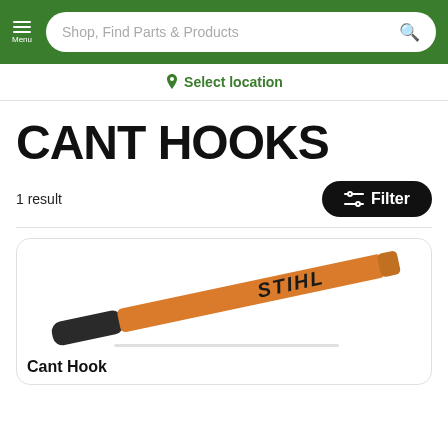Menu | Shop, Find Parts & Products
Select location
CANT HOOKS
1 result
Filter
[Figure (photo): STIHL branded orange and black cant hook tool shown diagonally against white background]
Cant Hook